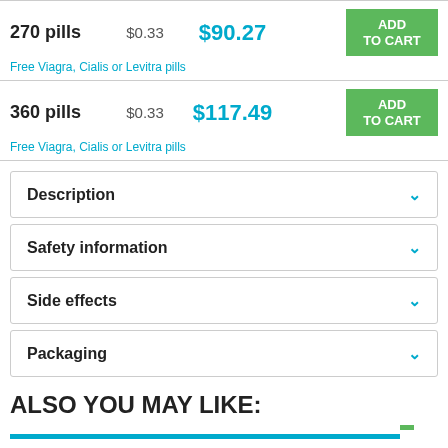| Pills | Price/pill | Total | Action |
| --- | --- | --- | --- |
| 270 pills | $0.33 | $90.27 | ADD TO CART |
| 360 pills | $0.33 | $117.49 | ADD TO CART |
Free Viagra, Cialis or Levitra pills
Free Viagra, Cialis or Levitra pills
Description
Safety information
Side effects
Packaging
ALSO YOU MAY LIKE:
[Figure (other): Teal horizontal divider bar with small green square at right end]
Urispas
Imuran